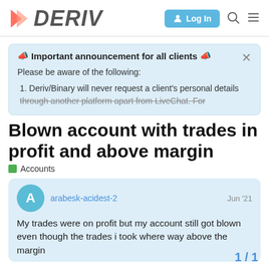DERIV | Log In
📣 Important announcement for all clients 📣
Please be aware of the following:
1. Deriv/Binary will never request a client's personal details through another platform apart from LiveChat. For
Blown account with trades in profit and above margin
Accounts
arabesk-acidest-2    Jun '21
My trades were on profit but my account still got blown even though the trades i took where way above the margin
1 / 1